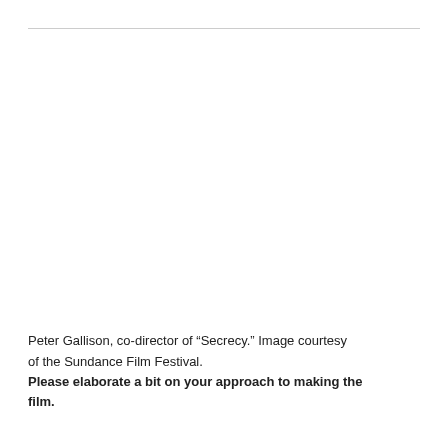Peter Gallison, co-director of “Secrecy.” Image courtesy of the Sundance Film Festival.
Please elaborate a bit on your approach to making the film.